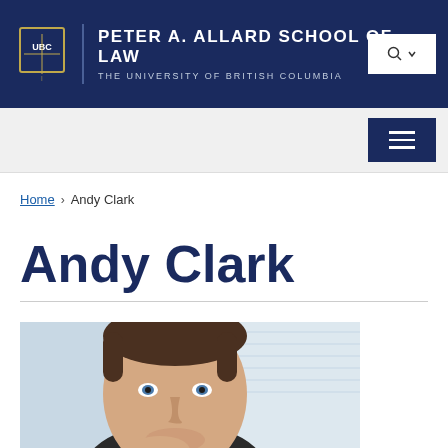PETER A. ALLARD SCHOOL OF LAW — THE UNIVERSITY OF BRITISH COLUMBIA
Home > Andy Clark
Andy Clark
[Figure (photo): Headshot photograph of Andy Clark, a man with short brown hair and blue eyes, facing slightly left of camera]